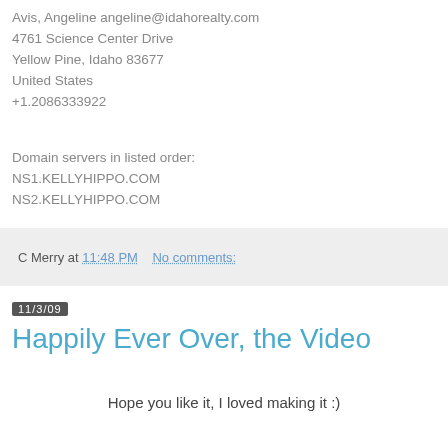Avis, Angeline angeline@idahorealty.com
4761 Science Center Drive
Yellow Pine, Idaho 83677
United States
+1.2086333922
Domain servers in listed order:
NS1.KELLYHIPPO.COM
NS2.KELLYHIPPO.COM
C Merry at 11:48 PM   No comments:
11/3/09
Happily Ever Over, the Video
Hope you like it, I loved making it :)